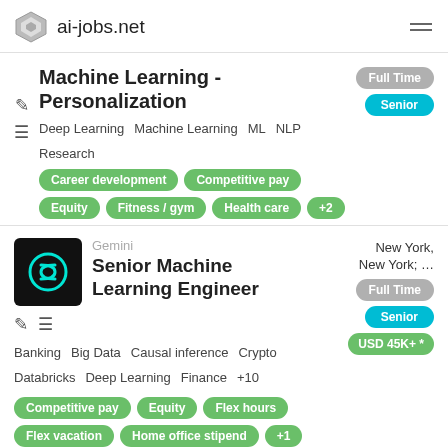ai-jobs.net
Machine Learning - Personalization
Full Time  Senior
Deep Learning  Machine Learning  ML  NLP  Research
Career development  Competitive pay  Equity  Fitness / gym  Health care  +2
Gemini  New York, New York; ...
Senior Machine Learning Engineer
Full Time  Senior  USD 45K+ *
Banking  Big Data  Causal inference  Crypto  Databricks  Deep Learning  Finance  +10
Competitive pay  Equity  Flex hours  Flex vacation  Home office stipend  +1